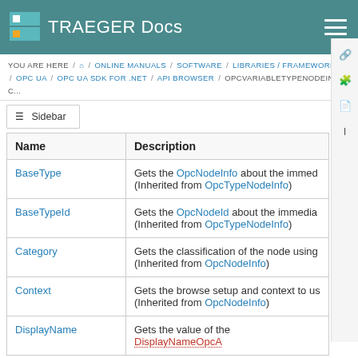TRAEGER Docs
YOU ARE HERE / Home / ONLINE MANUALS / SOFTWARE / LIBRARIES / FRAMEWORKS / OPC UA / OPC UA SDK FOR .NET / API BROWSER / OPCVARIABLETYPENOODEINFO C...
Sidebar
| Name | Description |
| --- | --- |
| BaseType | Gets the OpcNodeInfo about the immed... (Inherited from OpcTypeNodeInfo) |
| BaseTypeId | Gets the OpcNodeId about the immedia... (Inherited from OpcTypeNodeInfo) |
| Category | Gets the classification of the node using... (Inherited from OpcNodeInfo) |
| Context | Gets the browse setup and context to u... (Inherited from OpcNodeInfo) |
| DisplayName | Gets the value of the DisplayNameOpcA... (Inherited from OpcNodeInfo...) |